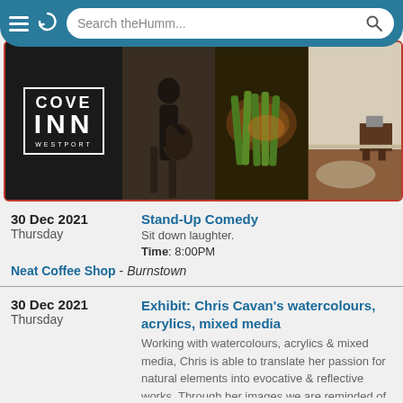Search theHumm...
[Figure (photo): Cove Inn Westport banner with logo, musician, food, and room photos]
30 Dec 2021 Thursday — Stand-Up Comedy. Sit down laughter. Time: 8:00PM. Neat Coffee Shop - Burnstown
30 Dec 2021 Thursday — Exhibit: Chris Cavan's watercolours, acrylics, mixed media. Working with watercolours, acrylics & mixed media, Chris is able to translate her passion for natural elements into evocative & reflective works. Through her images we are reminded of the strength & grandeur of our environment & the power of creative expression. In the Almonte Library's Corridor Gallery.